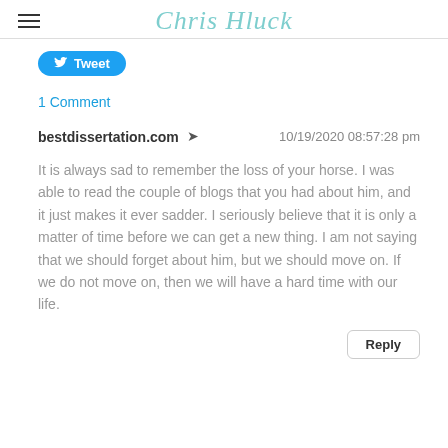Chris Hluck
[Figure (other): Tweet button with Twitter bird icon]
1 Comment
bestdissertation.com   10/19/2020 08:57:28 pm
It is always sad to remember the loss of your horse. I was able to read the couple of blogs that you had about him, and it just makes it ever sadder. I seriously believe that it is only a matter of time before we can get a new thing. I am not saying that we should forget about him, but we should move on. If we do not move on, then we will have a hard time with our life.
Reply